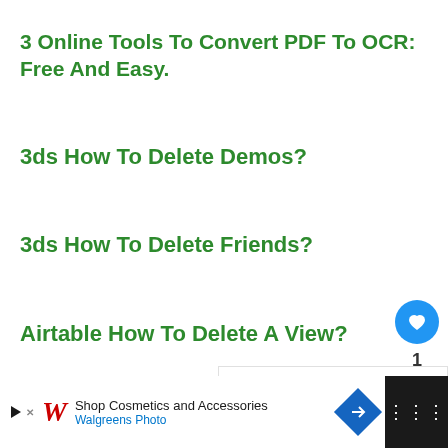3 Online Tools To Convert PDF To OCR: Free And Easy.
3ds How To Delete Demos?
3ds How To Delete Friends?
Airtable How To Delete A View?
[Figure (screenshot): Social sidebar with heart/like button (blue circle), count '1', and share button (white circle with share icon)]
[Figure (screenshot): What's Next panel showing thumbnail and text 'How To Delete An Uber Eat...']
[Figure (screenshot): Bottom advertisement bar for Walgreens Photo: 'Shop Cosmetics and Accessories' on dark background]